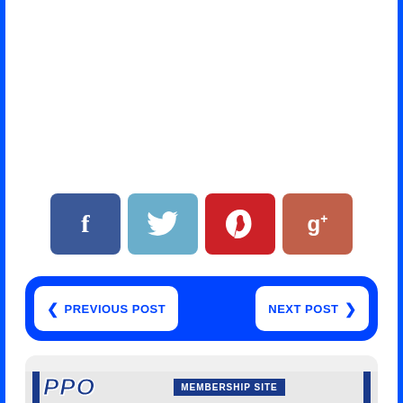[Figure (screenshot): Social media share buttons row: Facebook (blue), Twitter (steel blue), Pinterest (red), Google+ (salmon red)]
[Figure (infographic): Navigation bar with blue rounded rectangle background containing PREVIOUS POST (left) and NEXT POST (right) white buttons]
RELATED POSTS
[Figure (screenshot): Bottom strip showing a PRO logo and MEMBERSHIP SITE badge, with blue vertical bar accents]